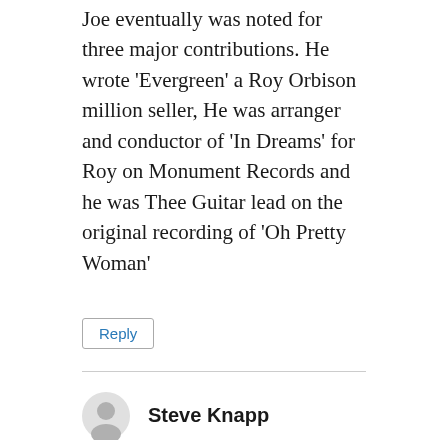Joe eventually was noted for three major contributions. He wrote ‘Evergreen’ a Roy Orbison million seller, He was arranger and conductor of ‘In Dreams’ for Roy on Monument Records and he was Thee Guitar lead on the original recording of ‘Oh Pretty Woman’
Reply
Steve Knapp
October 18, 2010 at 9:20 pm
Joe Tanner also did the great guitar work on “If You Don’t Know,” the flip side of George Hamilton IV’s recording of Loudermilk’s tune, “A Rose And a Baby Ruth.”